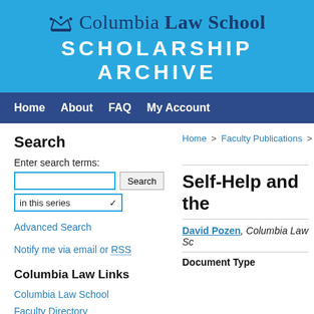[Figure (logo): Columbia Law School Scholarship Archive header banner with crown logo, institution name, and 'SCHOLARSHIP ARCHIVE' text on blue background]
Home   About   FAQ   My Account
Search
Enter search terms:
in this series
Advanced Search
Notify me via email or RSS
Columbia Law Links
Columbia Law School
Faculty Directory
Home > Faculty Publications > Fa
Self-Help and the
David Pozen, Columbia Law Sc
Document Type